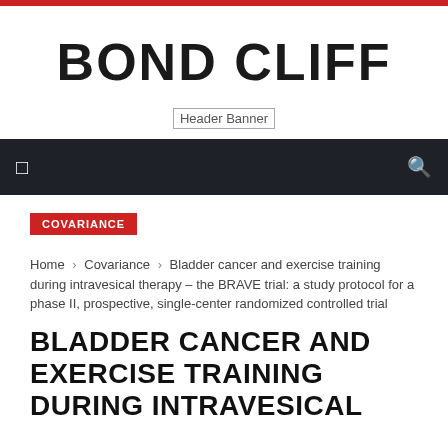BOND CLIFF
[Figure (other): Header Banner placeholder image]
COVARIANCE
Home › Covariance › Bladder cancer and exercise training during intravesical therapy – the BRAVE trial: a study protocol for a phase II, prospective, single-center randomized controlled trial
BLADDER CANCER AND EXERCISE TRAINING DURING INTRAVESICAL